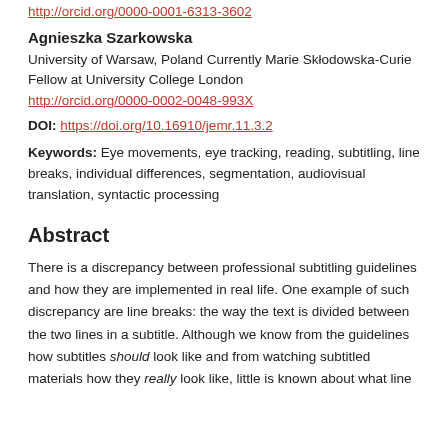http://orcid.org/0000-0001-6313-3602
Agnieszka Szarkowska
University of Warsaw, Poland Currently Marie Skłodowska-Curie Fellow at University College London
http://orcid.org/0000-0002-0048-993X
DOI: https://doi.org/10.16910/jemr.11.3.2
Keywords: Eye movements, eye tracking, reading, subtitling, line breaks, individual differences, segmentation, audiovisual translation, syntactic processing
Abstract
There is a discrepancy between professional subtitling guidelines and how they are implemented in real life. One example of such discrepancy are line breaks: the way the text is divided between the two lines in a subtitle. Although we know from the guidelines how subtitles should look like and from watching subtitled materials how they really look like, little is known about what line